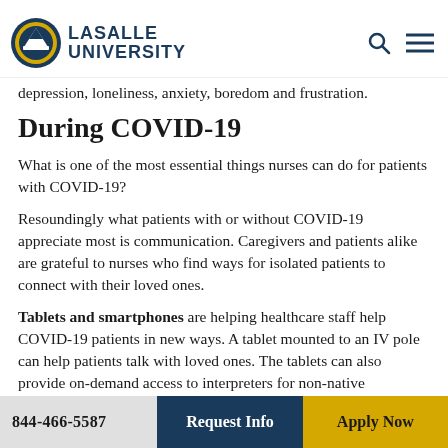La Salle University
depression, loneliness, anxiety, boredom and frustration.
During COVID-19
What is one of the most essential things nurses can do for patients with COVID-19?
Resoundingly what patients with or without COVID-19 appreciate most is communication. Caregivers and patients alike are grateful to nurses who find ways for isolated patients to connect with their loved ones.
Tablets and smartphones are helping healthcare staff help COVID-19 patients in new ways. A tablet mounted to an IV pole can help patients talk with loved ones. The tablets can also provide on-demand access to interpreters for non-native English-speaking patients and can be used to consult with dietitians, social workers, and pharmacists.
844-466-5587   Request Info   Apply Now